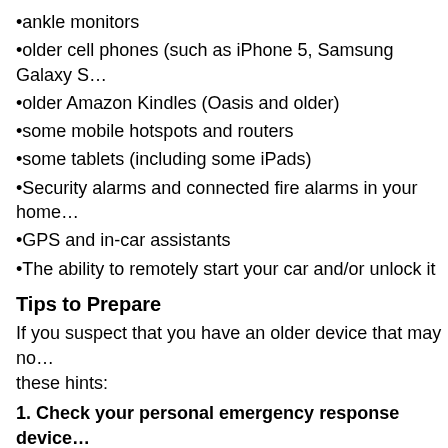•ankle monitors
•older cell phones (such as iPhone 5, Samsung Galaxy S
•older Amazon Kindles (Oasis and older)
•some mobile hotspots and routers
•some tablets (including some iPads)
•Security alarms and connected fire alarms in your home
•GPS and in-car assistants
•The ability to remotely start your car and/or unlock it
Tips to Prepare
If you suspect that you have an older device that may no these hints:
1. Check your personal emergency response device must work. Don't wait for an emergency to find out if it do out. Generally, they can tell you based on the serial or m